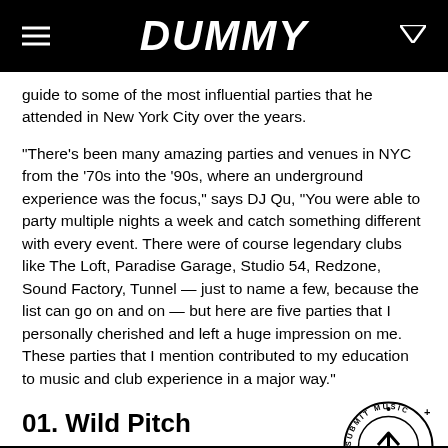DUMMY
guide to some of the most influential parties that he attended in New York City over the years.
"There's been many amazing parties and venues in NYC from the '70s into the '90s, where an underground experience was the focus," says DJ Qu, "You were able to party multiple nights a week and catch something different with every event. There were of course legendary clubs like The Loft, Paradise Garage, Studio 54, Redzone, Sound Factory, Tunnel — just to name a few, because the list can go on and on — but here are five parties that I personally cherished and left a huge impression on me. These parties that I mention contributed to my education to music and club experience in a major way."
[Figure (logo): Circular badge with text 'DMY ARTISTS • SUBMIT MUSIC' and an upward arrow icon]
01. Wild Pitch